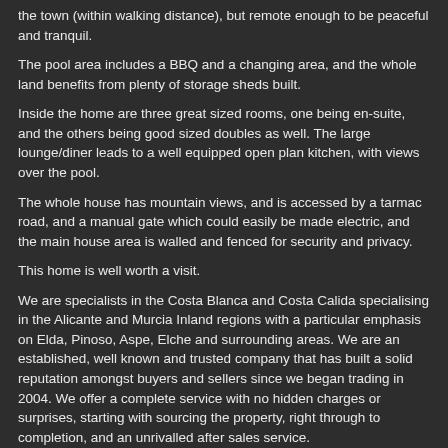the town (within walking distance), but remote enough to be peaceful and tranquil.
The pool area includes a BBQ and a changing area, and the whole land benefits from plenty of storage sheds built.
Inside the home are three great sized rooms, one being en-suite, and the others being good sized doubles as well. The large lounge/diner leads to a well equipped open plan kitchen, with views over the pool.
The whole house has mountain views, and is accessed by a tarmac road, and a manual gate which could easily be made electric, and the main house area is walled and fenced for security and privacy.
This home is well worth a visit.
We are specialists in the Costa Blanca and Costa Calida specialising in the Alicante and Murcia Inland regions with a particular emphasis on Elda, Pinoso, Aspe, Elche and surrounding areas. We are an established, well known and trusted company that has built a solid reputation amongst buyers and sellers since we began trading in 2004. We offer a complete service with no hidden charges or surprises, starting with sourcing the property, right through to completion, and an unrivalled after sales service.